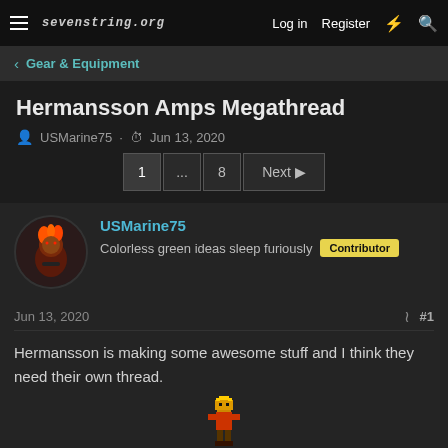sevenstring.org  Log in  Register
< Gear & Equipment
Hermansson Amps Megathread
USMarine75 · Jun 13, 2020
1 ... 8 Next
USMarine75
Colorless green ideas sleep furiously  Contributor
Jun 13, 2020  #1
Hermansson is making some awesome stuff and I think they need their own thread.